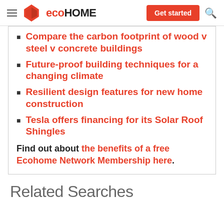eco HOME — Get started
Compare the carbon footprint of wood v steel v concrete buildings
Future-proof building techniques for a changing climate
Resilient design features for new home construction
Tesla offers financing for its Solar Roof Shingles
Find out about the benefits of a free Ecohome Network Membership here.
Related Searches